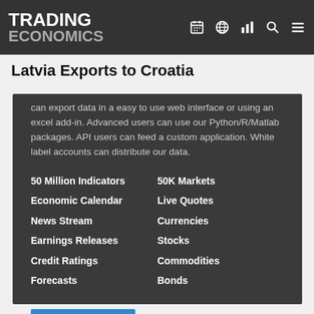TRADING ECONOMICS
Latvia Exports to Croatia
can export data in a easy to use web interface or using an excel add-in. Advanced users can use our Python/R/Matlab packages. API users can feed a custom application. White label accounts can distribute our data.
50 Million Indicators
Economic Calendar
News Stream
Earnings Releases
Credit Ratings
Forecasts
50K Markets
Live Quotes
Currencies
Stocks
Commodities
Bonds
Get Started